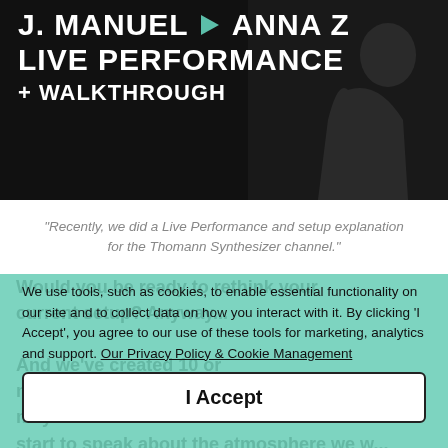[Figure (screenshot): Video thumbnail with dark background showing two people. Bold white text reads 'J. MANUEL & ANNA Z LIVE PERFORMANCE + WALKTHROUGH' with a teal play icon.]
"Recently, we did a Live Performance and setup explanation for the Thomann Synthesizer channel."
We use tools, such as cookies, to enable essential functionality on our site and to collect data on how you interact with it. By clicking 'I Accept', you agree to our use of these tools for marketing, analytics and support. Our Privacy Policy & Cookie Management
I Accept